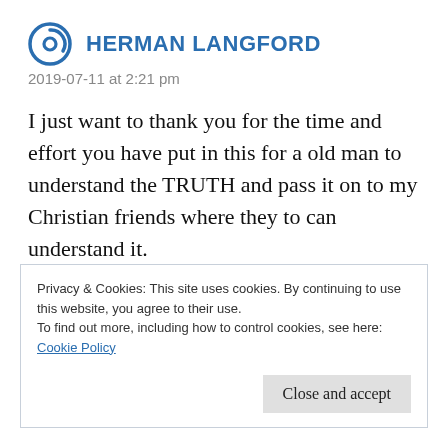HERMAN LANGFORD
2019-07-11 at 2:21 pm
I just want to thank you for the time and effort you have put in this for a old man to understand the TRUTH and pass it on to my Christian friends where they to can understand it.
God Bless You and Your Work,Hank
Privacy & Cookies: This site uses cookies. By continuing to use this website, you agree to their use.
To find out more, including how to control cookies, see here: Cookie Policy
Close and accept